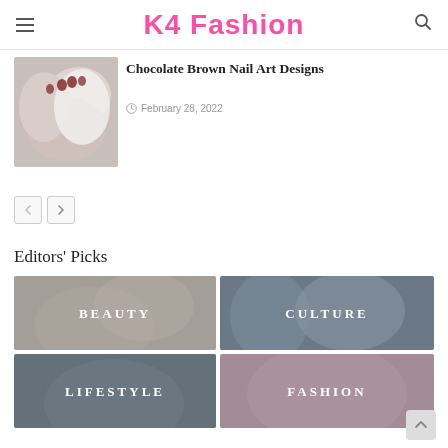K4 Fashion
[Figure (photo): Thumbnail image of hands holding a white textured surface, showing chocolate brown nail art on fingernails]
Chocolate Brown Nail Art Designs
February 28, 2022
Editors' Picks
[Figure (photo): Beauty category image showing women with face masks and cucumbers, labeled BEAUTY]
[Figure (photo): Culture category image showing group of young women with sunglasses, labeled CULTURE]
[Figure (photo): Lifestyle category image showing couple outdoors, labeled LIFESTYLE]
[Figure (photo): Fashion category image with muted pink tone showing a woman, labeled FASHION]